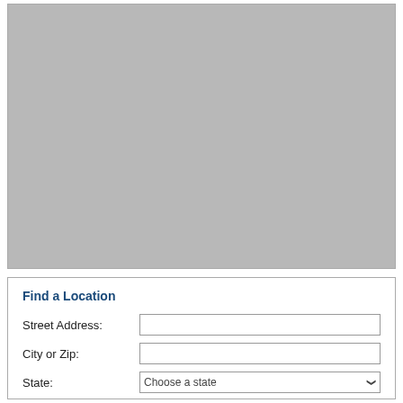[Figure (map): A gray placeholder map area showing a location finder map]
Find a Location
Street Address:
City or Zip:
State:
Choose a state